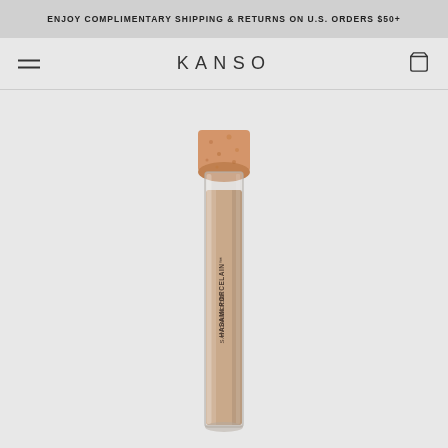ENJOY COMPLIMENTARY SHIPPING & RETURNS ON U.S. ORDERS $50+
KANSO
[Figure (photo): A glass tube bottle with a cork stopper containing incense powder. The label on the bottle reads 'HASAMI PORCELAIN INCENSE SANDALWOOD'. The bottle is tall and cylindrical with a warm beige/tan colored powder inside.]